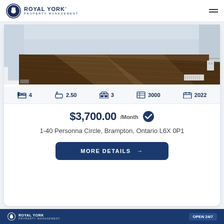ROYAL YORK PROPERTY MANAGEMENT
[Figure (photo): Interior photo showing hardwood floors and light gray walls of a property]
4  2.50  3  3000  2022
$3,700.00 /Month
1-40 Personna Circle, Brampton, Ontario L6X 0P1
MORE DETAILS →
ROYAL YORK PROPERTY MANAGEMENT  OPEN 24/7